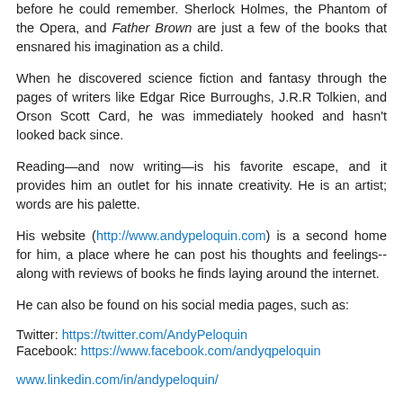before he could remember. Sherlock Holmes, the Phantom of the Opera, and Father Brown are just a few of the books that ensnared his imagination as a child.
When he discovered science fiction and fantasy through the pages of writers like Edgar Rice Burroughs, J.R.R Tolkien, and Orson Scott Card, he was immediately hooked and hasn't looked back since.
Reading—and now writing—is his favorite escape, and it provides him an outlet for his innate creativity. He is an artist; words are his palette.
His website (http://www.andypeloquin.com) is a second home for him, a place where he can post his thoughts and feelings--along with reviews of books he finds laying around the internet.
He can also be found on his social media pages, such as:
Twitter: https://twitter.com/AndyPeloquin
Facebook: https://www.facebook.com/andyqpeloquin
www.linkedin.com/in/andypeloquin/